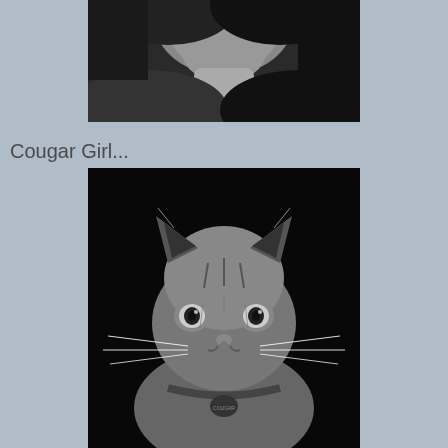[Figure (photo): Black and white close-up photo of a woman's lower face, neck and shoulder area, smiling, with dark hair]
Cougar Girl...
[Figure (photo): Black and white portrait photo of a tabby cat with wide eyes, whiskers, and a collar tag that reads 'COUGAR', against a black background]